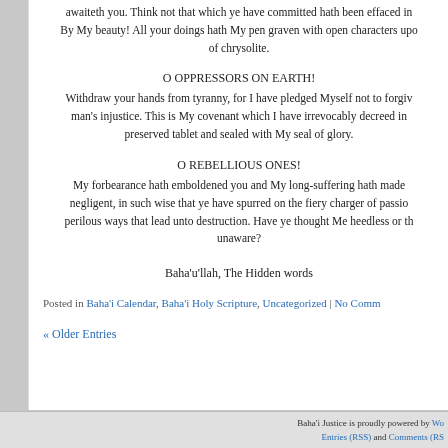awaiteth you. Think not that which ye have committed hath been effaced in My sight. By My beauty! All your doings hath My pen graven with open characters upon tablets of chrysolite.
O OPPRESSORS ON EARTH!
Withdraw your hands from tyranny, for I have pledged Myself not to forgive any man's injustice. This is My covenant which I have irrevocably decreed in the preserved tablet and sealed with My seal of glory.
O REBELLIOUS ONES!
My forbearance hath emboldened you and My long-suffering hath made you negligent, in such wise that ye have spurred on the fiery charger of passion into perilous ways that lead unto destruction. Have ye thought Me heedless or that I was unaware?
Baha'u'llah, The Hidden words
Posted in Baha'i Calendar, Baha'i Holy Scripture, Uncategorized | No Comments
« Older Entries
Baha'i Justice is proudly powered by WordPress. Entries (RSS) and Comments (RSS).